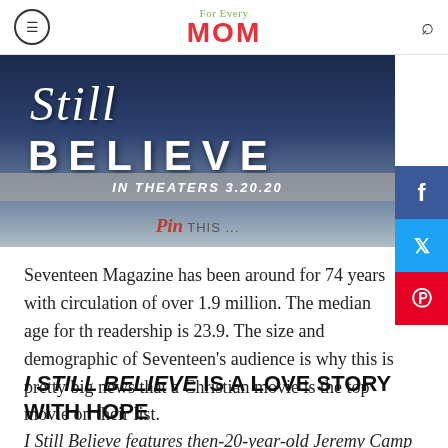For Every MOM
[Figure (photo): I Still Believe movie promotional poster with text 'BELIEVE IN THEATERS 3.20.20' and a Pin This overlay]
Seventeen Magazine has been around for 74 years with a circulation of over 1.9 million. The median age for the readership is 23.9. The size and demographic of Seventeen's audience is why this is pretty big news that a Christian movie is the top movie on their list.
I STILL BELIEVE IS A LOVE STORY WITH HOPE
I Still Believe features then-20-year-old Jeremy Camp